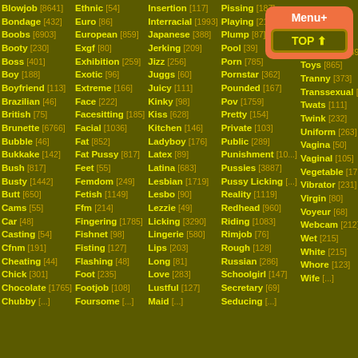Blowjob [8641]
Bondage [432]
Boobs [6903]
Booty [230]
Boss [401]
Boy [188]
Boyfriend [113]
Brazilian [46]
British [75]
Brunette [6766]
Bubble [46]
Bukkake [142]
Bush [817]
Busty [1442]
Butt [650]
Cams [55]
Car [48]
Casting [54]
Cfnm [191]
Cheating [44]
Chick [301]
Chocolate [1765]
Chubby [...]
Ethnic [54]
Euro [86]
European [859]
Exgf [80]
Exhibition [259]
Exotic [96]
Extreme [166]
Face [222]
Facesitting [185]
Facial [1036]
Fat [852]
Fat Pussy [817]
Feet [55]
Femdom [249]
Fetish [1149]
Ffm [214]
Fingering [1785]
Fishnet [98]
Fisting [127]
Flashing [48]
Foot [235]
Footjob [108]
Foursome [...]
Insertion [117]
Interracial [1993]
Japanese [388]
Jerking [209]
Jizz [256]
Juggs [60]
Juicy [111]
Kinky [98]
Kiss [628]
Kitchen [146]
Ladyboy [176]
Latex [89]
Latina [683]
Lesbian [1719]
Lesbo [90]
Lezzie [49]
Licking [3290]
Lingerie [580]
Lips [203]
Long [81]
Love [283]
Lustful [127]
Maid [...]
Pissing [187]
Playing [215]
Plump [87]
Pool [39]
Porn [785]
Pornstar [362]
Pounded [167]
Pov [1759]
Pretty [154]
Private [103]
Public [289]
Punishment [10...]
Pussies [3887]
Pussy Licking [...]
Reality [1119]
Redhead [960]
Riding [1083]
Rimjob [76]
Rough [128]
Russian [286]
Schoolgirl [147]
Secretary [69]
Seducing [...]
Tits [4061]
Titsfuck [1049]
Toys [865]
Tranny [373]
Transsexual [67]
Twats [111]
Twink [232]
Uniform [263]
Vagina [50]
Vaginal [105]
Vegetable [176]
Vibrator [231]
Virgin [80]
Voyeur [68]
Webcam [212]
Wet [215]
White [215]
Whore [123]
Wife [...]